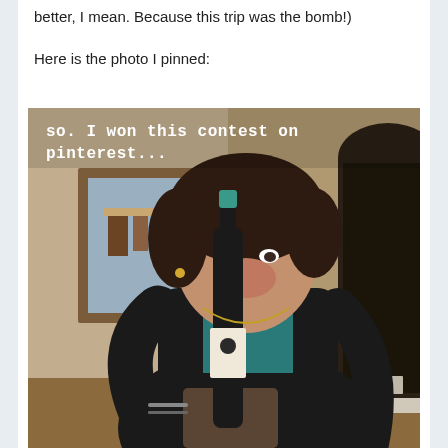better, I mean. Because this trip was the bomb!)
Here is the photo I pinned:
[Figure (photo): A woman holding a wine bottle with mouth open in an excited expression, posing in a home interior with a wooden-framed mirror and arched doorway visible. Text overlay reads: 'so. I won this contest on pinterest...']